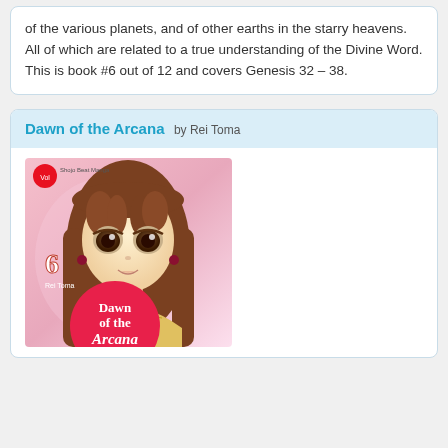of the various planets, and of other earths in the starry heavens. All of which are related to a true understanding of the Divine Word. This is book #6 out of 12 and covers Genesis 32 - 38.
Dawn of the Arcana by Rei Toma
[Figure (illustration): Book cover of 'Dawn of the Arcana' volume 6 by Rei Toma - manga-style illustration of a young woman with long brown hair, bangs, large eyes, wearing a golden outfit, with a pink circular logo reading 'Dawn of the Arcana' and the number 6 visible.]